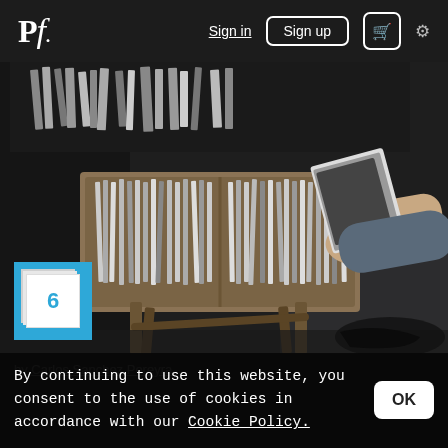Pf. Sign in Sign up [cart] [settings]
[Figure (photo): Person browsing vinyl records at an outdoor market stall, hand reaching into a wooden crate packed with records on a folding wooden stand]
6
by Carlos Sanchez Pereyra
By continuing to use this website, you consent to the use of cookies in accordance with our Cookie Policy.